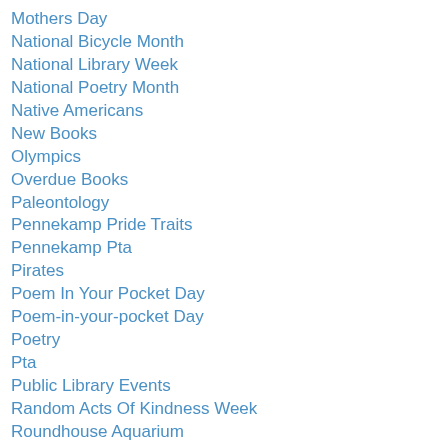Mothers Day
National Bicycle Month
National Library Week
National Poetry Month
Native Americans
New Books
Olympics
Overdue Books
Paleontology
Pennekamp Pride Traits
Pennekamp Pta
Pirates
Poem In Your Pocket Day
Poem-in-your-pocket Day
Poetry
Pta
Public Library Events
Random Acts Of Kindness Week
Roundhouse Aquarium
Saint Patricks Day